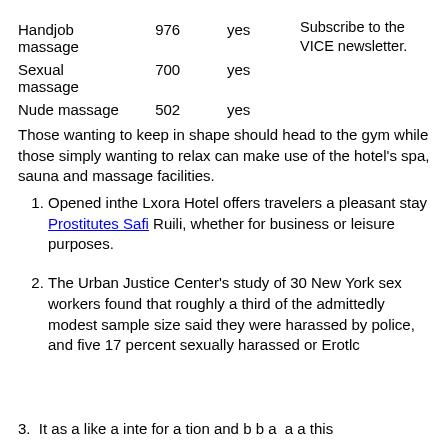| Handjob massage | 976 | yes | Subscribe to the VICE newsletter. |
| Sexual massage | 700 | yes |  |
| Nude massage | 502 | yes |  |
Those wanting to keep in shape should head to the gym while those simply wanting to relax can make use of the hotel's spa, sauna and massage facilities.
Opened inthe Lxora Hotel offers travelers a pleasant stay Prostitutes Safi Ruili, whether for business or leisure purposes.
The Urban Justice Center's study of 30 New York sex workers found that roughly a third of the admittedly modest sample size said they were harassed by police, and five 17 percent sexually harassed or Erotlc
It as a like a inte for a tion and b b a a a this...